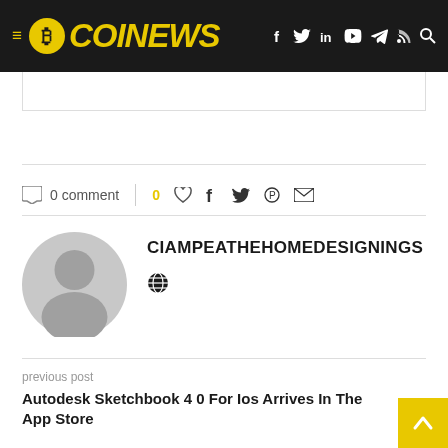COINEWS
0 comment
CIAMPEATHEHOMEDESIGNINGS
previous post
Autodesk Sketchbook 4 0 For Ios Arrives In The App Store